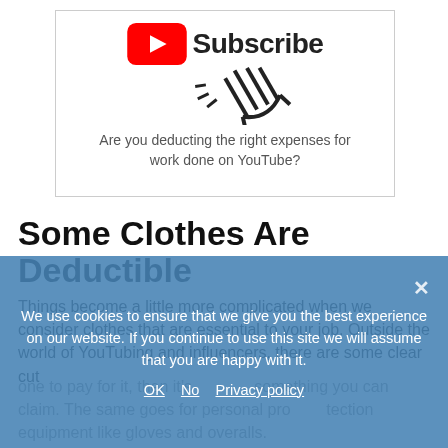[Figure (screenshot): YouTube subscribe button with cursor icon and caption about deducting expenses for YouTube work]
Are you deducting the right expenses for work done on YouTube?
Some Clothes Are Deductible
Things become a little more complicated when we consider clothes that are essential to your job. Outside the world of YouTubing and influencers, there are some clear cut examples of deductible clothes. If your employer requires you to buy your own uniform and it isn't suitable for everyday use, it's something you can claim. The same goes for personal protection equipment like gloves and overalls.
We use cookies to ensure that we give you the best experience on our website. If you continue to use this site we will assume that you are happy with it.